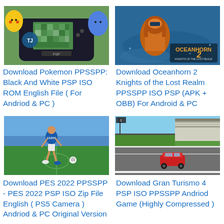[Figure (screenshot): Pokemon PPSSPP game thumbnail showing PSP handheld device with Pokemon characters including Pikachu]
[Figure (screenshot): Oceanhorn 2 Knights of the Lost Realm game thumbnail with orange armored character and blue water background]
Download Pokemon PPSSPP: Black And White PSP ISO ROM English File ( For Andriod & PC )
Download Oceanhorn 2 Knights of the Lost Realm PPSSPP ISO PSP (APK + OBB) For Android & PC
[Figure (screenshot): PES 2022 soccer game thumbnail showing player in blue Everton kit with CAZOO sponsor running]
[Figure (screenshot): Gran Turismo 4 PSP game thumbnail showing red car on racing circuit track with grandstand in background]
Download PES 2022 PPSSPP - PES 2022 PSP ISO Zip File English ( PS5 Camera ) Andriod & PC Original Version
Download Gran Turismo 4 PSP ISO PPSSPP Andriod Game (Highly Compressed )